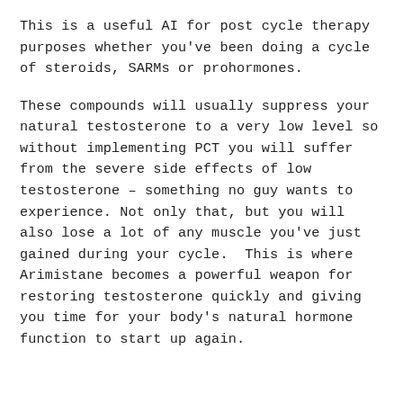This is a useful AI for post cycle therapy purposes whether you've been doing a cycle of steroids, SARMs or prohormones.
These compounds will usually suppress your natural testosterone to a very low level so without implementing PCT you will suffer from the severe side effects of low testosterone – something no guy wants to experience. Not only that, but you will also lose a lot of any muscle you've just gained during your cycle. This is where Arimistane becomes a powerful weapon for restoring testosterone quickly and giving you time for your body's natural hormone function to start up again.